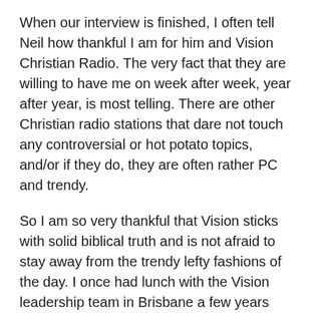When our interview is finished, I often tell Neil how thankful I am for him and Vision Christian Radio. The very fact that they are willing to have me on week after week, year after year, is most telling. There are other Christian radio stations that dare not touch any controversial or hot potato topics, and/or if they do, they are often rather PC and trendy.
So I am so very thankful that Vision sticks with solid biblical truth and is not afraid to stay away from the trendy lefty fashions of the day. I once had lunch with the Vision leadership team in Brisbane a few years ago and I told them just that. Please pray that they stand strong and stay true to biblical Christianity, and never compromise or water things down.